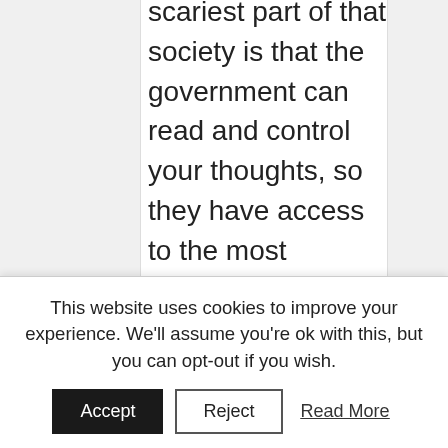scariest part of that society is that the government can read and control your thoughts, so they have access to the most intimate and personal part of a human being. And the most alarming thing is that with the development of technology, which will eventually be able to read our minds, the monitoring and manipulation of our own thoughts will happen sooner than we think. However, on a slight lighter note, I just wanted to emphasize the importance of protecting our privacy, so we will not need a law that will protect our freedom of thought! Here's the video if anyone is interested 🙂
This website uses cookies to improve your experience. We'll assume you're ok with this, but you can opt-out if you wish.